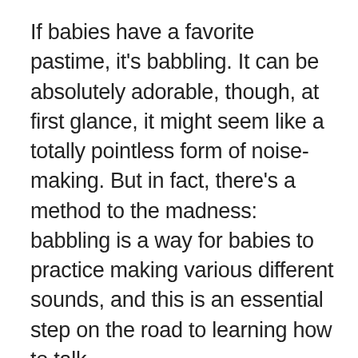If babies have a favorite pastime, it's babbling. It can be absolutely adorable, though, at first glance, it might seem like a totally pointless form of noise-making. But in fact, there's a method to the madness: babbling is a way for babies to practice making various different sounds, and this is an essential step on the road to learning how to talk.